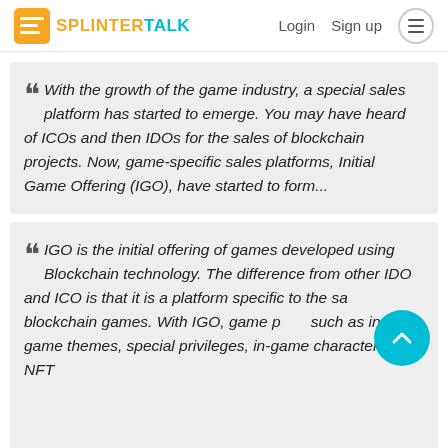SPLINTERTALK | Login | Sign up
With the growth of the game industry, a special sales platform has started to emerge. You may have heard of ICOs and then IDOs for the sales of blockchain projects. Now, game-specific sales platforms, Initial Game Offering (IGO), have started to form...
IGO is the initial offering of games developed using Blockchain technology. The difference from other IDO and ICO is that it is a platform specific to the sale of blockchain games. With IGO, game parts such as in-game themes, special privileges, in-game characters, NFT...